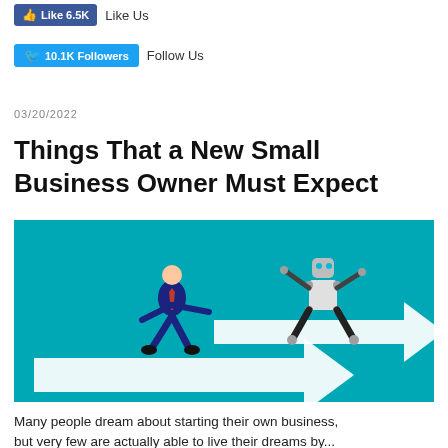Like 6.5K  Like Us
10.1K Followers  Follow Us
03/20/2022
Things That a New Small Business Owner Must Expect
[Figure (illustration): Illustration of a businessman in a suit running on a white arrow and a robot running on another white arrow, both on a teal/cyan background, suggesting human vs AI competition.]
Many people dream about starting their own business, but very few are actually able to live their dreams by...